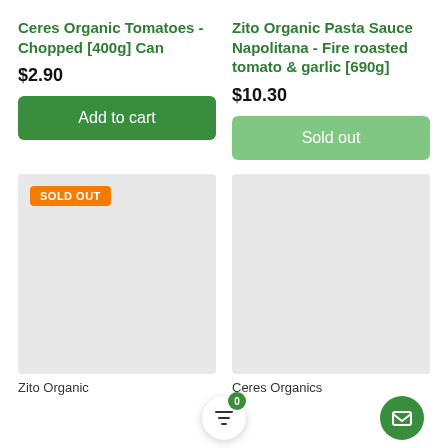Ceres Organic Tomatoes - Chopped [400g] Can
$2.90
Add to cart
Zito Organic Pasta Sauce Napolitana - Fire roasted tomato & garlic [690g]
$10.30
Sold out
[Figure (other): Product image placeholder with SOLD OUT orange badge, grey rectangle]
[Figure (other): Product image placeholder, grey rectangle]
Zito Organic
Ceres Organics